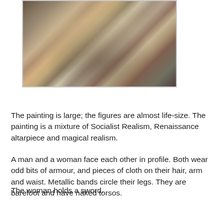[Figure (photo): A large painting showing armoured figures in a museum or gallery setting, depicting a scene with warriors in a style mixing Socialist Realism, Renaissance altarpiece, and magical realism.]
The painting is large; the figures are almost life-size. The painting is a mixture of Socialist Realism, Renaissance altarpiece and magical realism.
A man and a woman face each other in profile. Both wear odd bits of armour, and pieces of cloth on their hair, arm and waist. Metallic bands circle their legs. They are barefoot and have naked torsos.
The woman holds a sword.
[Figure (photo): Bottom portion of a painting showing figures, partially visible, continuing the depiction of the large painting described above.]